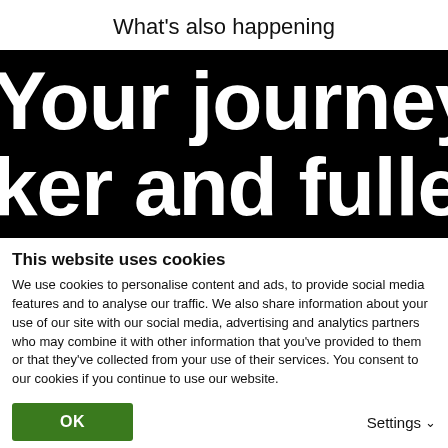What's also happening
[Figure (photo): Black background banner with large white bold text reading 'Your journey to' on the first line and 'ker and fuller' on the second line (text is cropped on both sides).]
This website uses cookies
We use cookies to personalise content and ads, to provide social media features and to analyse our traffic. We also share information about your use of our site with our social media, advertising and analytics partners who may combine it with other information that you've provided to them or that they've collected from your use of their services. You consent to our cookies if you continue to use our website.
OK
Settings